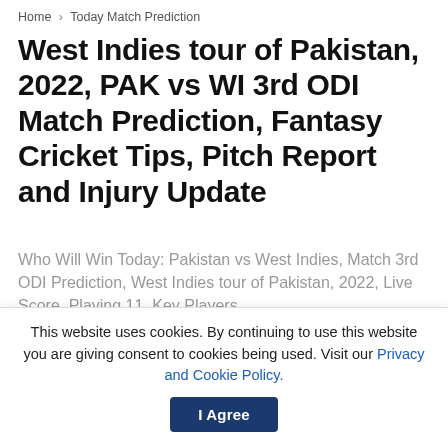Home > Today Match Prediction
West Indies tour of Pakistan, 2022, PAK vs WI 3rd ODI Match Prediction, Fantasy Cricket Tips, Pitch Report and Injury Update
Who Will Win Today: Pakistan vs West Indies, Match 3rd ODI Prediction, West Indies tour of Pakistan, 2022, Live Score, Playing 11, Key Players
by Arslan Shan — June 12, 2022  2 min read
[Figure (other): Advertisement banner placeholder]
This website uses cookies. By continuing to use this website you are giving consent to cookies being used. Visit our Privacy and Cookie Policy.